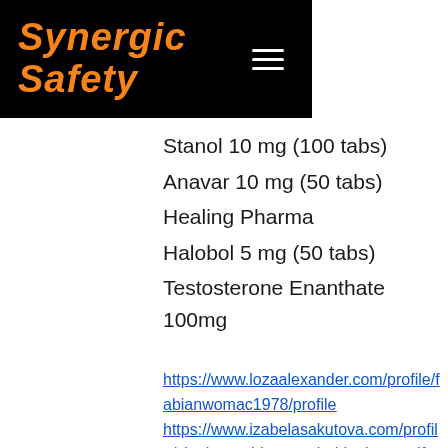[Figure (logo): Synergic Safety logo in orange italic text on black background with hamburger menu icon]
Stanol 10 mg (100 tabs)
Anavar 10 mg (50 tabs)
Healing Pharma
Halobol 5 mg (50 tabs)
Testosterone Enanthate 100mg
https://www.lozaalexander.com/profile/fabianwomac1978/profile
https://www.izabelasakutova.com/profile/clenbuterol-kopen-via-ideal-tamoxifen-an-4154/profile
https://www.epsis.co.kr/profile/mild-steroide-kur-comprar-winstrol-pasti-620/profile
https://www.yoursignatureresume.com/profile/alyshastgerard1989/profile